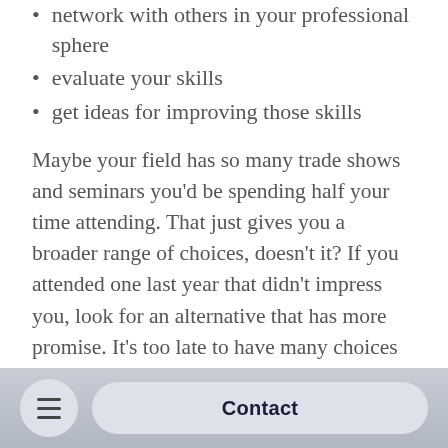network with others in your professional sphere
evaluate your skills
get ideas for improving those skills
Maybe your field has so many trade shows and seminars you’d be spending half your time attending. That just gives you a broader range of choices, doesn’t it? If you attended one last year that didn’t impress you, look for an alternative that has more promise. It’s too late to have many choices if you wait for registry deadlines because the good ones fill up fast. Events like these are a help in defining your career objective. Your job is usually a small slice of a very big possible career, and attending these events can give you a much larger perspective on the possibilities available to you. But you have to get them on your calendar first.